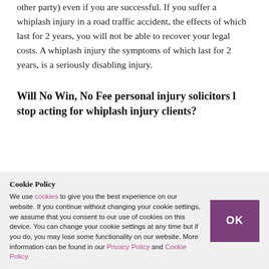other party) even if you are successful. If you suffer a whiplash injury in a road traffic accident, the effects of which last for 2 years, you will not be able to recover your legal costs. A whiplash injury the symptoms of which last for 2 years, is a seriously disabling injury.
Will No Win, No Fee personal injury solicitors l stop acting for whiplash injury clients?
Very many will. At Mooneerams, we are making
Cookie Policy
We use cookies to give you the best experience on our website. If you continue without changing your cookie settings, we assume that you consent to our use of cookies on this device. You can change your cookie settings at any time but if you do, you may lose some functionality on our website. More information can be found in our Privacy Policy and Cookie Policy.